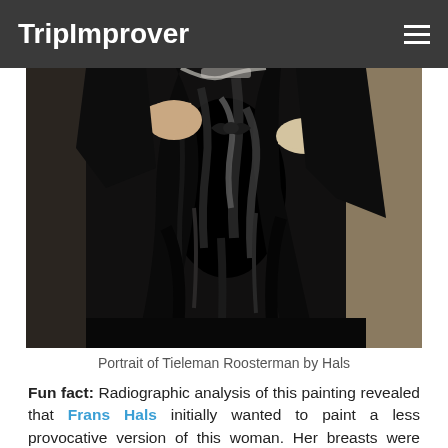TripImprover
[Figure (photo): Detail of a painting showing a woman in a black dress, midsection view, hands visible, with glossy black fabric — Portrait of Tieleman Roosterman by Hals]
Portrait of Tieleman Roosterman by Hals
Fun fact: Radiographic analysis of this painting revealed that Frans Hals initially wanted to paint a less provocative version of this woman. Her breasts were smaller and less exposed. However, Hals decided to